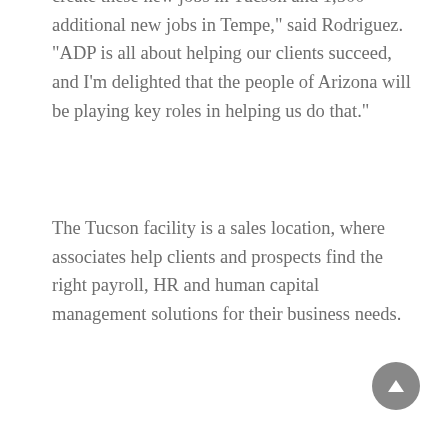create these new jobs in Tucson and 1,500 additional new jobs in Tempe," said Rodriguez.  "ADP is all about helping our clients succeed, and I'm delighted that the people of Arizona will be playing key roles in helping us do that."
The Tucson facility is a sales location, where associates help clients and prospects find the right payroll, HR and human capital management solutions for their business needs.
Among the talent ADP is seeking to attract to its Tucson facility:  Associates who reflect the diversity inherent in the clients ADP serves; graduates of the University of Arizona, especially those from the Eller School of Business, and veterans and military spouses given the presence of Davis-Monthan Air Force Base in Tucson, among others.
“We need to match the diversity in the marketplace with diverse sales talent and expertise, and Tucson is rich in